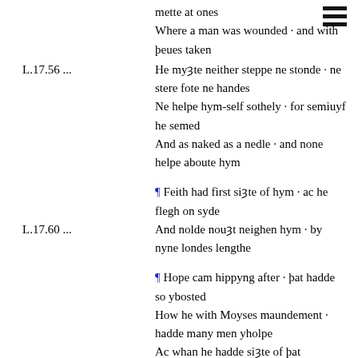mette at ones
Where a man was wounded · and with þeues taken
L.17.56 ...
He myȝte neither steppe ne stonde · ne stere fote ne handes
Ne helpe hym-self sothely · for semiuyf he semed
And as naked as a nedle · and none helpe aboute hym
¶ Feith had first siȝte of hym · ac he flegh on syde
L.17.60 ...
And nolde nouȝt neighen hym · by nyne londes lengthe
¶ Hope cam hippyng after · þat hadde so ybosted
How he with Moyses maundement · hadde many men yholpe
Ac whan he hadde siȝte of þat